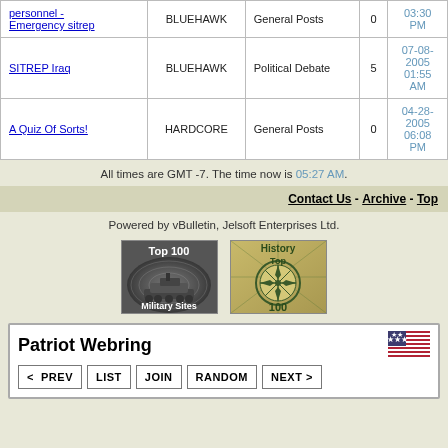| Topic | Author | Forum | Replies | Last Post |
| --- | --- | --- | --- | --- |
| personnel - Emergency sitrep | BLUEHAWK | General Posts | 0 | 03-30 PM |
| SITREP Iraq | BLUEHAWK | Political Debate | 5 | 07-08-2005 01:55 AM |
| A Quiz Of Sorts! | HARDCORE | General Posts | 0 | 04-28-2005 06:08 PM |
All times are GMT -7. The time now is 05:27 AM.
Contact Us - Archive - Top
Powered by vBulletin, Jelsoft Enterprises Ltd.
[Figure (illustration): Top 100 Military Sites badge with tank graphic]
[Figure (illustration): History Top 100 badge with compass graphic]
Patriot Webring - < PREV | LIST | JOIN | RANDOM | NEXT >